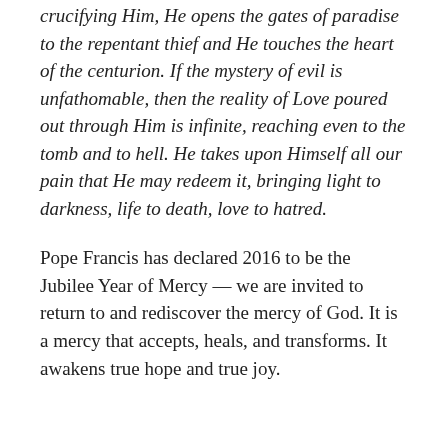crucifying Him, He opens the gates of paradise to the repentant thief and He touches the heart of the centurion. If the mystery of evil is unfathomable, then the reality of Love poured out through Him is infinite, reaching even to the tomb and to hell. He takes upon Himself all our pain that He may redeem it, bringing light to darkness, life to death, love to hatred.
Pope Francis has declared 2016 to be the Jubilee Year of Mercy — we are invited to return to and rediscover the mercy of God. It is a mercy that accepts, heals, and transforms. It awakens true hope and true joy.